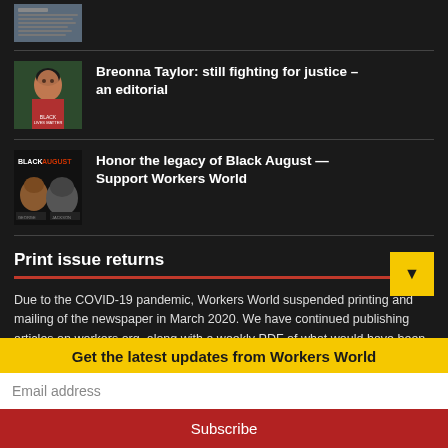[Figure (photo): Small thumbnail image of a newspaper or document, partially visible at top]
Breonna Taylor: still fighting for justice – an editorial
[Figure (photo): Portrait illustration of Breonna Taylor with Black Lives Matter imagery]
Honor the legacy of Black August — Support Workers World
[Figure (photo): Black August book/magazine cover with two figures]
Print issue returns
Due to the COVID-19 pandemic, Workers World suspended printing and mailing of the newspaper in March 2020. We have continued publishing articles on workers.org, along with a weekly PDF of what would have been the printed version. We are pleased to announce that we have resumed printing and mailing on a monthly basis, for now. Subscribers should have received a printed paper since September 2021. Print subscriptions will still be extended in
Get the latest updates from Workers World
Email address
Subscribe